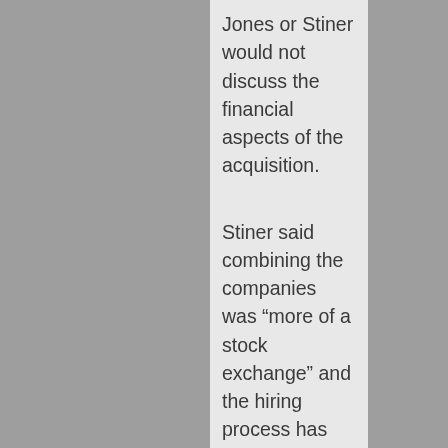Jones or Stiner would not discuss the financial aspects of the acquisition.
Stiner said combining the companies was “more of a stock exchange” and the hiring process has begun.
“We’re looking for programmers. We’re looking for data scientists. We’re looking for program managers. We’re looking for salespeople,” Stiner said. “All of these are high-paying white collar, technology-based jobs that will report to either Lackawanna or Luzerne County.”
State Sen. John Yudichak, State Rep. Eddie Day Pashinski, Wilkes-Barre Mayor Tony George, representatives for Gov. Tom Wolf, U.S. Rep. Matt Cartwright, U.S. Sens. Bob Casey and Pat Toomey and the Greater Wilkes-Barre Chamber attended the